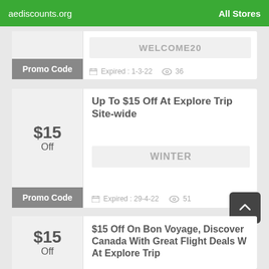aediscounts.org    All Stores
Promo Code | WELCOME20 | Expired: 1-3-22 | 36 views
Up To $15 Off At Explore Trip Site-wide
Promo Code | WINTER | Expired: 29-4-22 | 51 views
$15 Off On Bon Voyage, Discover Canada With Great Flight Deals W At Explore Trip